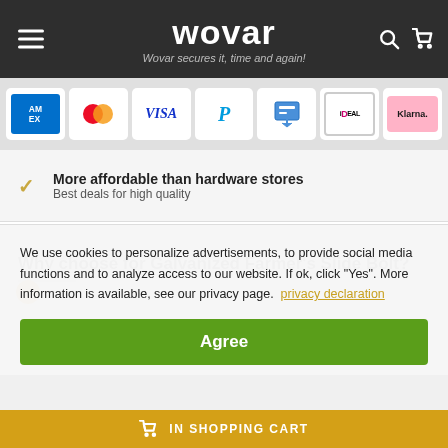wovar — Wovar secures it, time and again!
[Figure (screenshot): Payment method icons: American Express, Mastercard, Visa, PayPal, iDEAL transfer, iDEAL, Klarna]
More affordable than hardware stores
Best deals for high quality
Why choose for Galvanized Farmer's Slide Bolt?
We use cookies to personalize advertisements, to provide social media functions and to analyze access to our website. If ok, click "Yes". More information is available, see our privacy page.  privacy declaration
Agree
IN SHOPPING CART